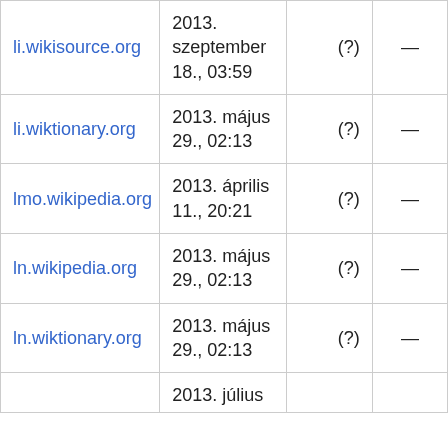| li.wikisource.org | 2013. szeptember 18., 03:59 | (?) | — |
| li.wiktionary.org | 2013. május 29., 02:13 | (?) | — |
| lmo.wikipedia.org | 2013. április 11., 20:21 | (?) | — |
| ln.wikipedia.org | 2013. május 29., 02:13 | (?) | — |
| ln.wiktionary.org | 2013. május 29., 02:13 | (?) | — |
|  | 2013. július… |  |  |